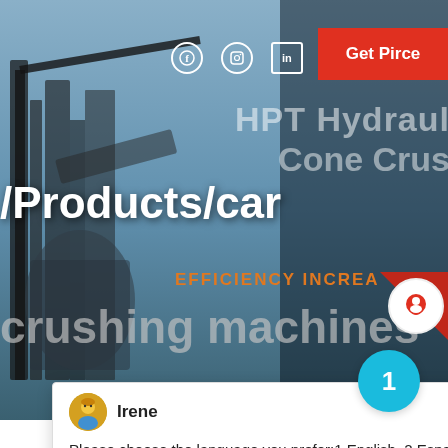[Figure (screenshot): Website screenshot showing a crushing machines product page with hero background image of industrial equipment, social media icons, Get Pirce button, overlaid text reading /Products/car and crushing machines, and a live chat popup from Irene offering language selection.]
HPI Hydraulic Cone Crus
/Products/car crushing machines
EFFICIENCY INCREA
Get Pirce
Irene
Please choose the language you prefer:1.English  2.Español  3.русский  4.Français  5.bahasa Indonesia   6. عربسعربي
[Figure (photo): Bottom portion of the page showing a photograph of industrial crushing machinery structure inside a warehouse/factory with steel framework visible.]